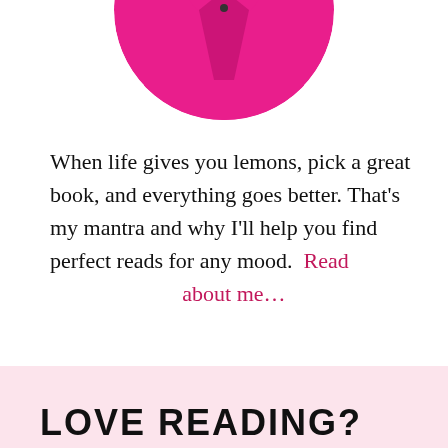[Figure (photo): Circular cropped photo of a person wearing a bright magenta/pink jacket, partially visible at top of page]
When life gives you lemons, pick a great book, and everything goes better. That's my mantra and why I'll help you find perfect reads for any mood.  Read about me…
LOVE READING?